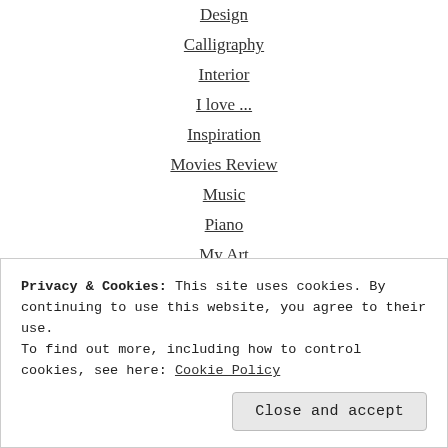Design
Calligraphy
Interior
I love ...
Inspiration
Movies Review
Music
Piano
My Art
My Awards!
My Shop
Photography
Reblogged
Travel
Privacy & Cookies: This site uses cookies. By continuing to use this website, you agree to their use.
To find out more, including how to control cookies, see here: Cookie Policy
Close and accept